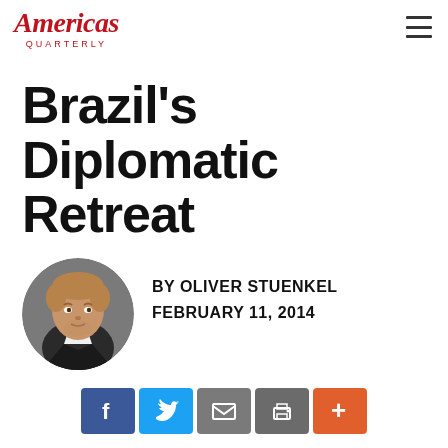Americas Quarterly
Brazil's Diplomatic Retreat
BY OLIVER STUENKEL
FEBRUARY 11, 2014
[Figure (photo): Circular headshot portrait of Oliver Stuenkel, a man with short reddish-blond hair and beard, wearing a dark suit with white shirt, gray background.]
[Figure (infographic): Social media sharing buttons: Facebook (blue), Twitter (cyan), Email (gray), Print (dark gray), More/Plus (orange)]